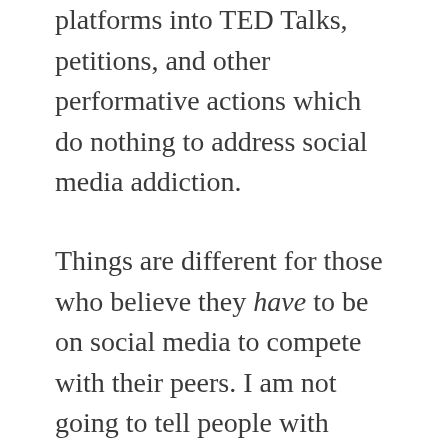platforms into TED Talks, petitions, and other performative actions which do nothing to address social media addiction.
Things are different for those who believe they have to be on social media to compete with their peers. I am not going to tell people with hundreds of thousands of alleged “followers” to quit their Twitter gig. They have to figure that on their own and live with the consequences.
I personally don’t believe in the redemption of social media, so I’ve decided to focus on